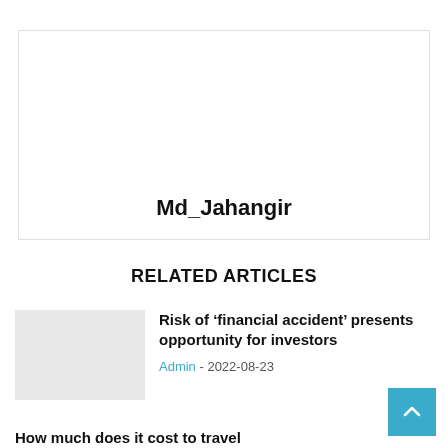[Figure (other): Author profile box with name Md_Jahangir]
RELATED ARTICLES
[Figure (photo): Thumbnail image for related article about financial accident]
Risk of ‘financial accident’ presents opportunity for investors
Admin - 2022-08-23
How much does it cost to travel